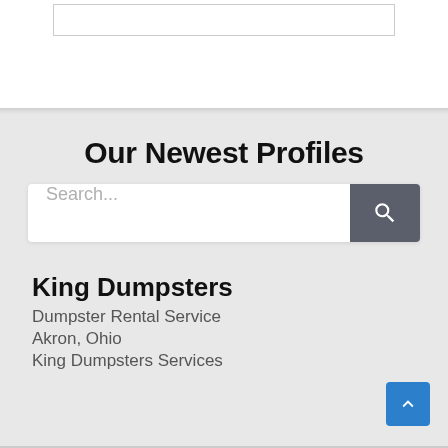[Figure (screenshot): Top white section showing partial search box at the top of the page]
Our Newest Profiles
[Figure (screenshot): Search bar with placeholder text 'Search...' and a dark gray search button with magnifying glass icon]
King Dumpsters
Dumpster Rental Service
Akron, Ohio
King Dumpsters Services